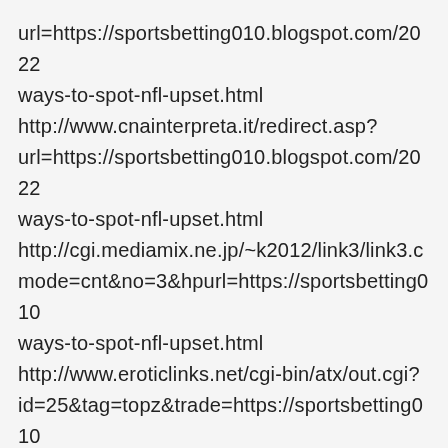url=https://sportsbetting010.blogspot.com/2022 ways-to-spot-nfl-upset.html http://www.cnainterpreta.it/redirect.asp? url=https://sportsbetting010.blogspot.com/2022 ways-to-spot-nfl-upset.html http://cgi.mediamix.ne.jp/~k2012/link3/link3.c mode=cnt&no=3&hpurl=https://sportsbetting010 ways-to-spot-nfl-upset.html http://www.eroticlinks.net/cgi-bin/atx/out.cgi? id=25&tag=topz&trade=https://sportsbetting010 ways-to-spot-nfl-upset.html http://infoholix.net/redirect.php? mId=4263&mWeb=https://sportsbetting010.blo ways-to-spot-nfl-upset.html http://www.matatabix.net/out/click3.cgi?